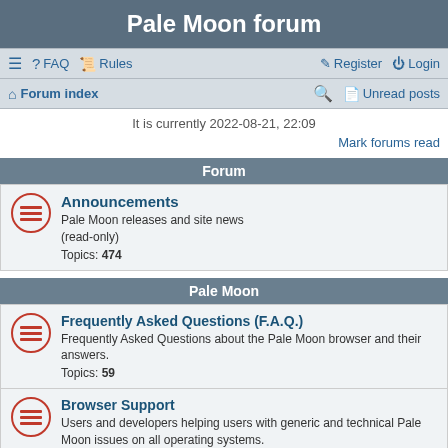Pale Moon forum
≡  FAQ  Rules   Register  Login
Forum index   Search  Unread posts
It is currently 2022-08-21, 22:09
Mark forums read
Forum
Announcements
Pale Moon releases and site news (read-only)
Topics: 474
Pale Moon
Frequently Asked Questions (F.A.Q.)
Frequently Asked Questions about the Pale Moon browser and their answers.
Topics: 59
Browser Support
Users and developers helping users with generic and technical Pale Moon issues on all operating systems.
Moderator: trava90
Topics: 10320
Web Compatibility Support
For support with specific websites
Moderator: ...